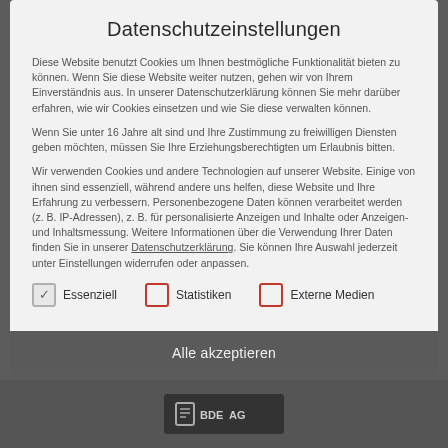Datenschutzeinstellungen
Diese Website benutzt Cookies um Ihnen bestmögliche Funktionalität bieten zu können. Wenn Sie diese Website weiter nutzen, gehen wir von Ihrem Einverständnis aus. In unserer Datenschutzerklärung können Sie mehr darüber erfahren, wie wir Cookies einsetzen und wie Sie diese verwalten können.
Wenn Sie unter 16 Jahre alt sind und Ihre Zustimmung zu freiwilligen Diensten geben möchten, müssen Sie Ihre Erziehungsberechtigten um Erlaubnis bitten.
Wir verwenden Cookies und andere Technologien auf unserer Website. Einige von ihnen sind essenziell, während andere uns helfen, diese Website und Ihre Erfahrung zu verbessern. Personenbezogene Daten können verarbeitet werden (z. B. IP-Adressen), z. B. für personalisierte Anzeigen und Inhalte oder Anzeigen- und Inhaltsmessung. Weitere Informationen über die Verwendung Ihrer Daten finden Sie in unserer Datenschutzerklärung. Sie können Ihre Auswahl jederzeit unter Einstellungen widerrufen oder anpassen.
Essenziell
Statistiken
Externe Medien
Alle akzeptieren